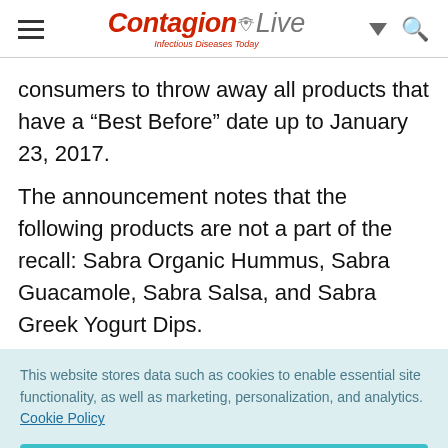ContagionLive — Infectious Diseases Today
consumers to throw away all products that have a “Best Before” date up to January 23, 2017.
The announcement notes that the following products are not a part of the recall: Sabra Organic Hummus, Sabra Guacamole, Sabra Salsa, and Sabra Greek Yogurt Dips.
This website stores data such as cookies to enable essential site functionality, as well as marketing, personalization, and analytics. Cookie Policy
Accept
Deny